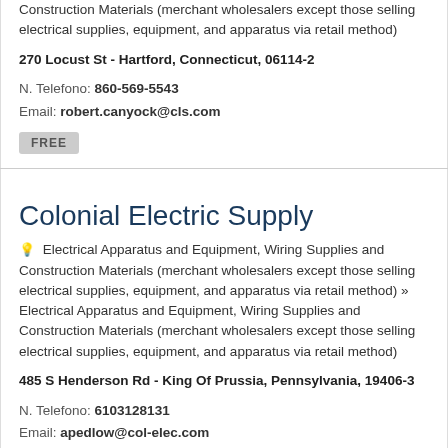Construction Materials (merchant wholesalers except those selling electrical supplies, equipment, and apparatus via retail method)
270 Locust St - Hartford, Connecticut, 06114-2
N. Telefono: 860-569-5543
Email: robert.canyock@cls.com
FREE
Colonial Electric Supply
Electrical Apparatus and Equipment, Wiring Supplies and Construction Materials (merchant wholesalers except those selling electrical supplies, equipment, and apparatus via retail method) » Electrical Apparatus and Equipment, Wiring Supplies and Construction Materials (merchant wholesalers except those selling electrical supplies, equipment, and apparatus via retail method)
485 S Henderson Rd - King Of Prussia, Pennsylvania, 19406-3
N. Telefono: 6103128131
Email: apedlow@col-elec.com
FREE